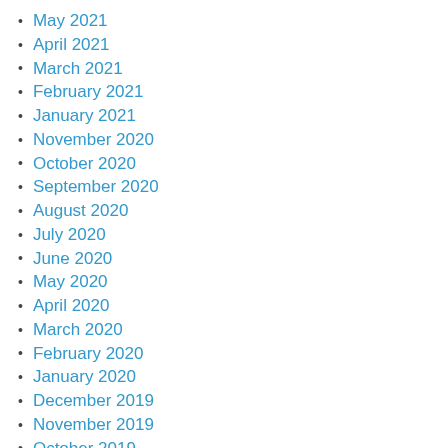May 2021
April 2021
March 2021
February 2021
January 2021
November 2020
October 2020
September 2020
August 2020
July 2020
June 2020
May 2020
April 2020
March 2020
February 2020
January 2020
December 2019
November 2019
October 2019
September 2019